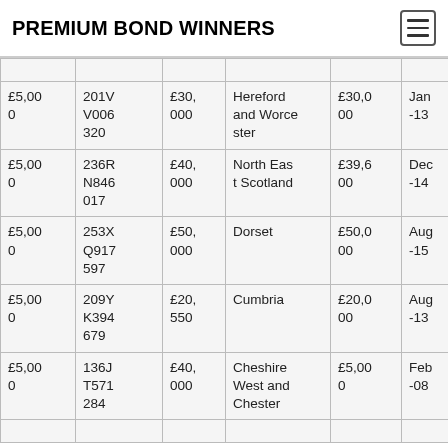PREMIUM BOND WINNERS
| Prize | Bond Number | Value | Area | Holding | Date |
| --- | --- | --- | --- | --- | --- |
| £5,000 | 201V V006 320 | £30,000 | Hereford and Worcester | £30,000 | Jan-13 |
| £5,000 | 236R N846 017 | £40,000 | North East Scotland | £39,600 | Dec-14 |
| £5,000 | 253X Q917 597 | £50,000 | Dorset | £50,000 | Aug-15 |
| £5,000 | 209Y K394 679 | £20,550 | Cumbria | £20,000 | Aug-13 |
| £5,000 | 136J T571 284 | £40,000 | Cheshire West and Chester | £5,000 | Feb-08 |